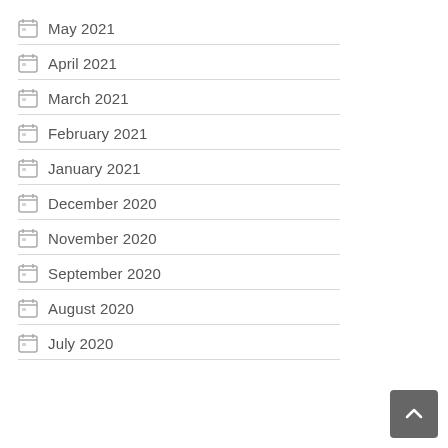May 2021
April 2021
March 2021
February 2021
January 2021
December 2020
November 2020
September 2020
August 2020
July 2020